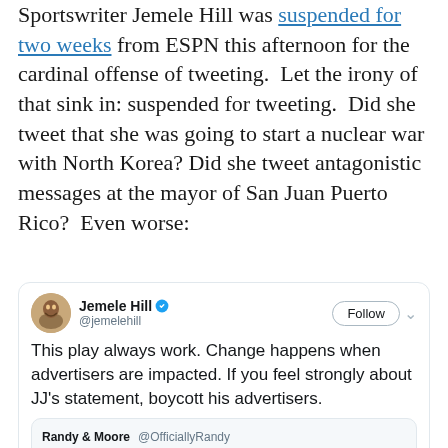Sportswriter Jemele Hill was suspended for two weeks from ESPN this afternoon for the cardinal offense of tweeting.  Let the irony of that sink in: suspended for tweeting.  Did she tweet that she was going to start a nuclear war with North Korea? Did she tweet antagonistic messages at the mayor of San Juan Puerto Rico?  Even worse:
[Figure (screenshot): Embedded tweet from Jemele Hill (@jemelehill) with verified badge and Follow button. Tweet text: 'This play always work. Change happens when advertisers are impacted. If you feel strongly about JJ's statement, boycott his advertisers.' Includes a quoted tweet from Randy & Moore @OfficiallyRandy replying to @jemelehill: 'Here's a few: AT&T Bank of America']